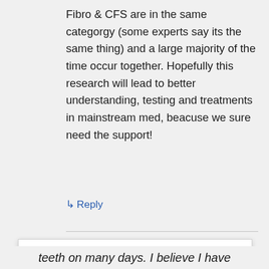Fibro & CFS are in the same categorgy (some experts say its the same thing) and a large majority of the time occur together. Hopefully this research will lead to better understanding, testing and treatments in mainstream med, beacuse we sure need the support!
↳ Reply
Privacy & Cookies: This site uses cookies. By continuing to use this website, you agree to their use. To find out more, including how to control cookies, see here: Cookie Policy
Close and accept
teeth on many days. I believe I have